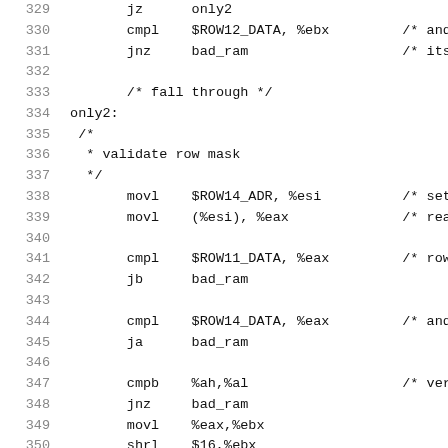[Figure (other): Assembly source code listing with line numbers 329-350, showing x86 assembly instructions including cmpl, jnz, movl, cmpl, jb, ja, cmpb, jnz, movl, shrl with labels and comments.]